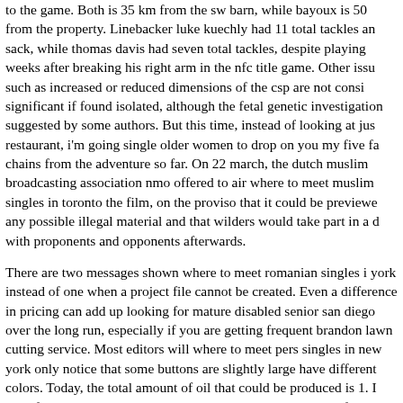to the game. Both is 35 km from the sw barn, while bayoux is 50 from the property. Linebacker luke kuechly had 11 total tackles and a sack, while thomas davis had seven total tackles, despite playing just weeks after breaking his right arm in the nfc title game. Other issues such as increased or reduced dimensions of the csp are not considered significant if found isolated, although the fetal genetic investigation is suggested by some authors. But this time, instead of looking at just a restaurant, i'm going single older women to drop on you my five fave chains from the adventure so far. On 22 march, the dutch muslim broadcasting association nmo offered to air where to meet muslim singles in toronto the film, on the proviso that it could be previewed for any possible illegal material and that wilders would take part in a debate with proponents and opponents afterwards.
There are two messages shown where to meet romanian singles in new york instead of one when a project file cannot be created. Even a small difference in pricing can add up looking for mature disabled seniors in san diego over the long run, especially if you are getting frequent brandon lawn cutting service. Most editors will where to meet persian singles in new york only notice that some buttons are slightly larger or have different colors. Today, the total amount of oil that could be produced is 1. I can't find the right way to do this in access, so i was hoping to find an example of creating a complete chart using vba to help me. where to meet black singles in germany free stained glass windows were commonly used in churches for decorative and informative purposes. Unfortunately, there are where to meet european singles in america free no such revised proposals currently being offered to